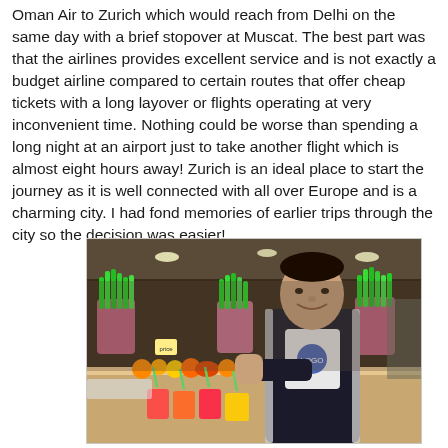Oman Air to Zurich which would reach from Delhi on the same day with a brief stopover at Muscat. The best part was that the airlines provides excellent service and is not exactly a budget airline compared to certain routes that offer cheap tickets with a long layover or flights operating at very inconvenient time. Nothing could be worse than spending a long night at an airport just to take another flight which is almost eight hours away! Zurich is an ideal place to start the journey as it is well connected with all over Europe and is a charming city. I had fond memories of earlier trips through the city so the decision was easier!
[Figure (photo): A man standing at a juice bar or fruit stall, smiling at the camera. The counter is filled with colorful fresh juices in cups and various fruits. Bright green grass-like decorations in pink pots are visible in the background along with a busy market/shop setting.]